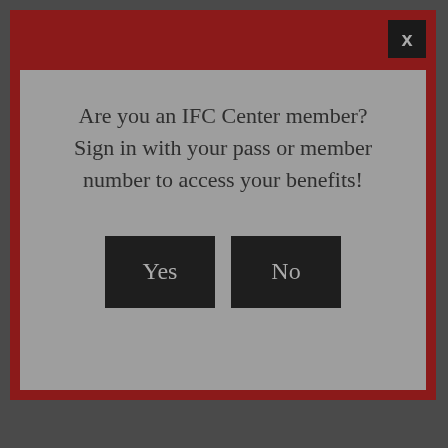[Figure (screenshot): A modal dialog box with a dark red border and a gray interior. The dialog asks 'Are you an IFC Center member? Sign in with your pass or member number to access your benefits!' with a 'Yes' button and a 'No' button. There is an X close button in the top right corner of the modal's red header bar.]